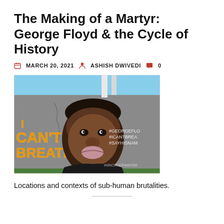The Making of a Martyr: George Floyd & the Cycle of History
MARCH 20, 2021  ASHISH DWIVEDI  0
[Figure (photo): A street mural of George Floyd with text 'I CAN'T BREATHE' in orange and yellow letters on the left, and hashtags #GeorgeFlo #ICantBrea #SayHisNam on the right. The mural is painted on a cracked grey concrete wall.]
Locations and contexts of sub-human brutalities.